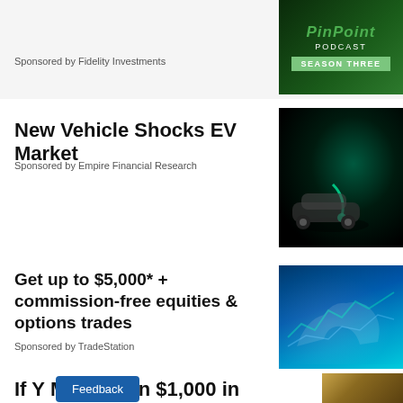Sponsored by Fidelity Investments
[Figure (other): Pinpoint Podcast Season Three logo on dark green background]
New Vehicle Shocks EV Market
Sponsored by Empire Financial Research
[Figure (photo): Electric vehicle charging station with green glowing light effects]
Get up to $5,000* + commission-free equities & options trades
Sponsored by TradeStation
[Figure (photo): Blue digital bull market graphic for TradeStation]
If Y... More Than $1,000 in
[Figure (photo): Rolled US dollars / money photo]
Feedback